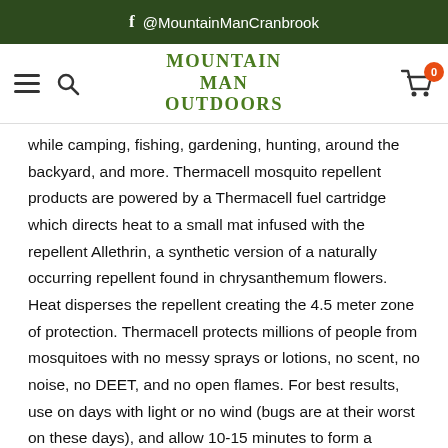f @MountainManCranbrook
[Figure (logo): Mountain Man Outdoors logo with hamburger menu, search icon, and cart icon showing 0 items]
while camping, fishing, gardening, hunting, around the backyard, and more. Thermacell mosquito repellent products are powered by a Thermacell fuel cartridge which directs heat to a small mat infused with the repellent Allethrin, a synthetic version of a naturally occurring repellent found in chrysanthemum flowers. Heat disperses the repellent creating the 4.5 meter zone of protection. Thermacell protects millions of people from mosquitoes with no messy sprays or lotions, no scent, no noise, no DEET, and no open flames. For best results, use on days with light or no wind (bugs are at their worst on these days), and allow 10-15 minutes to form a complete